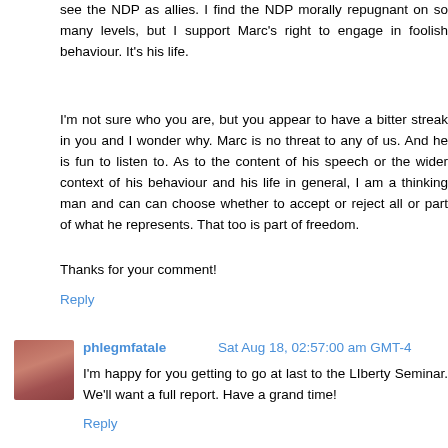see the NDP as allies. I find the NDP morally repugnant on so many levels, but I support Marc's right to engage in foolish behaviour. It's his life.
I'm not sure who you are, but you appear to have a bitter streak in you and I wonder why. Marc is no threat to any of us. And he is fun to listen to. As to the content of his speech or the wider context of his behaviour and his life in general, I am a thinking man and can can choose whether to accept or reject all or part of what he represents. That too is part of freedom.
Thanks for your comment!
Reply
phlegmfatale  Sat Aug 18, 02:57:00 am GMT-4
I'm happy for you getting to go at last to the LIberty Seminar. We'll want a full report. Have a grand time!
Reply